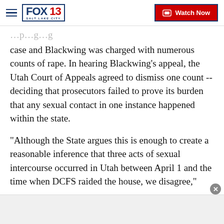FOX 13 SALT LAKE CITY — Watch Now
case and Blackwing was charged with numerous counts of rape. In hearing Blackwing's appeal, the Utah Court of Appeals agreed to dismiss one count -- deciding that prosecutors failed to prove its burden that any sexual contact in one instance happened within the state.
"Although the State argues this is enough to create a reasonable inference that three acts of sexual intercourse occurred in Utah between April 1 and the time when DCFS raided the house, we disagree,"